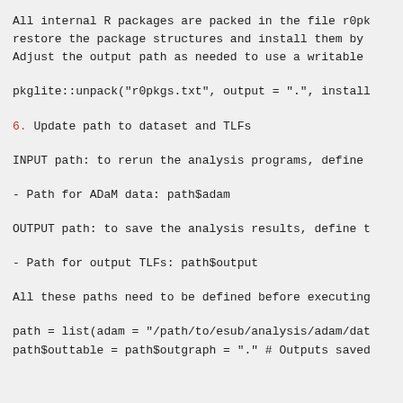All internal R packages are packed in the file r0pk restore the package structures and install them by Adjust the output path as needed to use a writable
pkglite::unpack("r0pkgs.txt", output = ".", install
6. Update path to dataset and TLFs
INPUT path: to rerun the analysis programs, define
- Path for ADaM data: path$adam
OUTPUT path: to save the analysis results, define t
- Path for output TLFs: path$output
All these paths need to be defined before executing
path = list(adam = "/path/to/esub/analysis/adam/dat path$outtable = path$outgraph = "." # Outputs saved